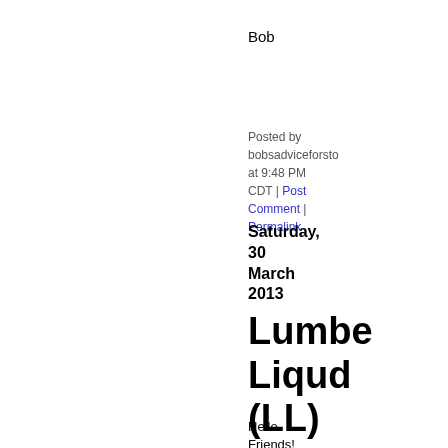Bob
Posted by bobsadviceforsto at 9:48 PM CDT | Post Comment | Permalink
Saturday, 30 March 2013
Lumbe Liqud (LL)
Hello Friends! Thanks